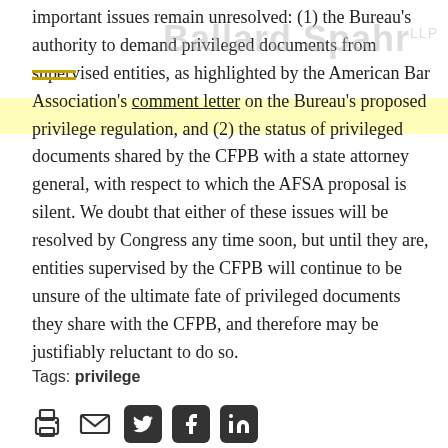important issues remain unresolved: (1) the Bureau's authority to demand privileged documents from supervised entities, as highlighted by the American Bar Association's comment letter on the Bureau's proposed privilege regulation, and (2) the status of privileged documents shared by the CFPB with a state attorney general, with respect to which the AFSA proposal is silent. We doubt that either of these issues will be resolved by Congress any time soon, but until they are, entities supervised by the CFPB will continue to be unsure of the ultimate fate of privileged documents they share with the CFPB, and therefore may be justifiably reluctant to do so.
Tags: privilege
[Figure (infographic): Row of social/share icons: print, email, Twitter, Facebook, LinkedIn]